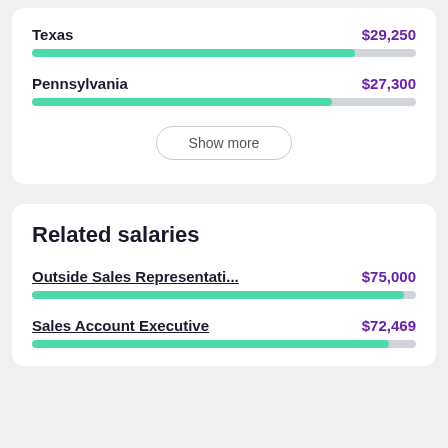Texas — $29,250
[Figure (bar-chart): Salaries by state]
Pennsylvania — $27,300
Show more
Related salaries
Outside Sales Representati... — $75,000
Sales Account Executive — $72,469